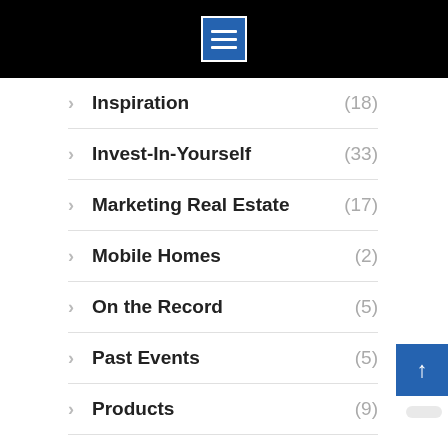Navigation menu header bar with hamburger icon
Inspiration (18)
Invest-In-Yourself (33)
Marketing Real Estate (17)
Mobile Homes (2)
On the Record (5)
Past Events (5)
Products (9)
Raving Fans (4)
Seller Financing (9)
Student of the Month (9)